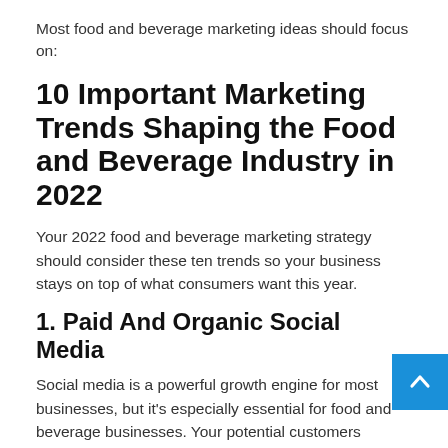Most food and beverage marketing ideas should focus on:
10 Important Marketing Trends Shaping the Food and Beverage Industry in 2022
Your 2022 food and beverage marketing strategy should consider these ten trends so your business stays on top of what consumers want this year.
1. Paid And Organic Social Media
Social media is a powerful growth engine for most businesses, but it’s especially essential for food and beverage businesses. Your potential customers